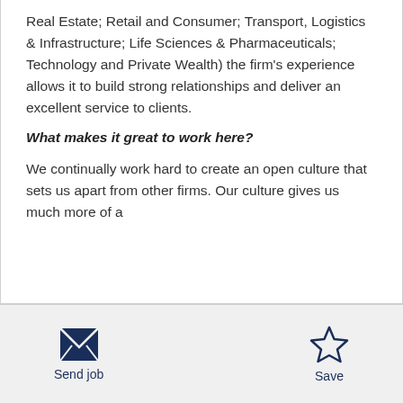Real Estate; Retail and Consumer; Transport, Logistics & Infrastructure; Life Sciences & Pharmaceuticals; Technology and Private Wealth) the firm's experience allows it to build strong relationships and deliver an excellent service to clients.
What makes it great to work here?
We continually work hard to create an open culture that sets us apart from other firms. Our culture gives us much more of a
Send job | Save